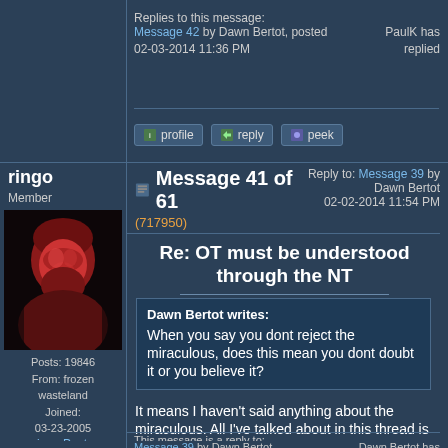Replies to this message:
Message 42 by Dawn Bertot, posted 02-03-2014 11:36 PM
PaulK has replied
[Figure (screenshot): profile, reply, peek buttons]
ringo
Member
[Figure (photo): Avatar: red-tinted portrait photo of a bearded man]
Message 41 of 61
(717950)
02-03-2014 10:41 AM
Reply to: Message 39 by Dawn Bertot
02-02-2014 11:54 PM
Re: OT must be understood through the NT
Dawn Bertot writes:

When you say you dont reject the miraculous, does this mean you dont doubt it or you believe it?
It means I haven't said anything about the miraculous. All I've talked about in this thread is the meaning of English words.
Posts: 19846
From: frozen wasteland
Joined: 03-23-2005
Member Rating: 2.8
This message is a reply to:
Message 39 by Dawn Bertot, posted 02-02-2014 11:54 PM
Dawn Bertot has not replied
ringo Posts Only